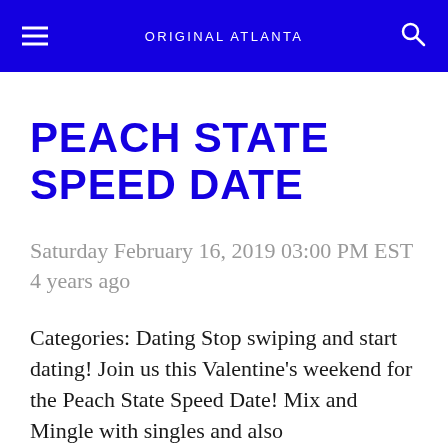ORIGINAL ATLANTA
PEACH STATE SPEED DATE
Saturday February 16, 2019 03:00 PM EST 4 years ago
Categories: Dating Stop swiping and start dating! Join us this Valentine's weekend for the Peach State Speed Date! Mix and Mingle with singles and also...